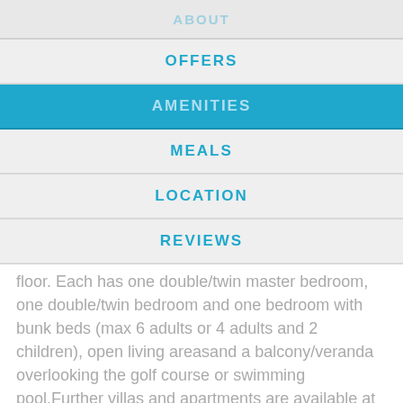ABOUT
OFFERS
AMENITIES
MEALS
LOCATION
REVIEWS
floor. Each has one double/twin master bedroom, one double/twin bedroom and one bedroom with bunk beds (max 6 adults or 4 adults and 2 children), open living areasand a balcony/veranda overlooking the golf course or swimming pool.Further villas and apartments are available at Les Ormes Resort.
Prices
To top ▲